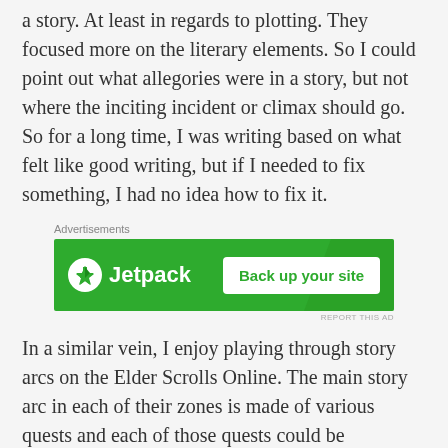a story. At least in regards to plotting. They focused more on the literary elements. So I could point out what allegories were in a story, but not where the inciting incident or climax should go. So for a long time, I was writing based on what felt like good writing, but if I needed to fix something, I had no idea how to fix it.
[Figure (other): Jetpack advertisement banner with green background. Shows Jetpack logo on left and 'Back up your site' button on right. Labeled 'Advertisements' above.]
In a similar vein, I enjoy playing through story arcs on the Elder Scrolls Online. The main story arc in each of their zones is made of various quests and each of those quests could be compared to an episode in serial fiction. Something happens to the character that moves the plot forward and either positively or negatively affects the MC. So